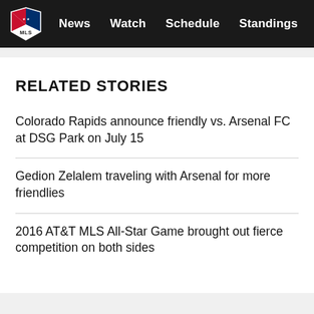MLS | News | Watch | Schedule | Standings
RELATED STORIES
Colorado Rapids announce friendly vs. Arsenal FC at DSG Park on July 15
Gedion Zelalem traveling with Arsenal for more friendlies
2016 AT&T MLS All-Star Game brought out fierce competition on both sides